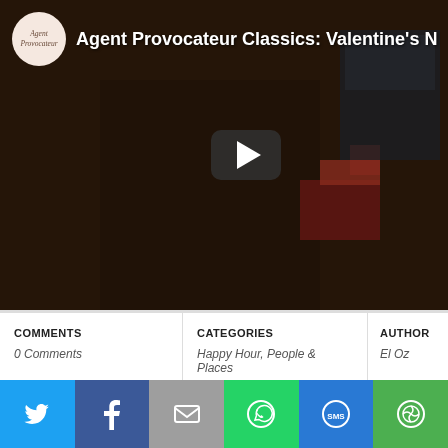[Figure (screenshot): YouTube video thumbnail for 'Agent Provocateur Classics: Valentine's N' showing a blonde woman in lingerie with a play button overlay and the Agent Provocateur logo in the top left corner]
COMMENTS
0 Comments
CATEGORIES
Happy Hour, People & Places
AUTHOR
El Oz
[Figure (infographic): Social share bar with icons for Twitter, Facebook, Email, WhatsApp, SMS, and More]